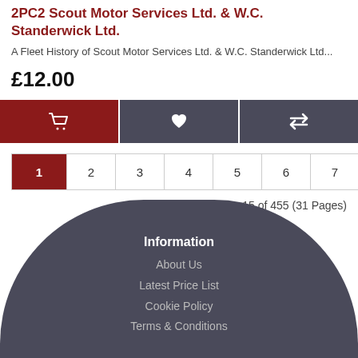2PC2 Scout Motor Services Ltd. & W.C. Standerwick Ltd.
A Fleet History of Scout Motor Services Ltd. & W.C. Standerwick Ltd...
£12.00
[Figure (other): Action buttons: cart, wishlist, compare]
Pagination: 1 2 3 4 5 6 7 8 9 > >|
Showing 1 to 15 of 455 (31 Pages)
Information
About Us
Latest Price List
Cookie Policy
Terms & Conditions